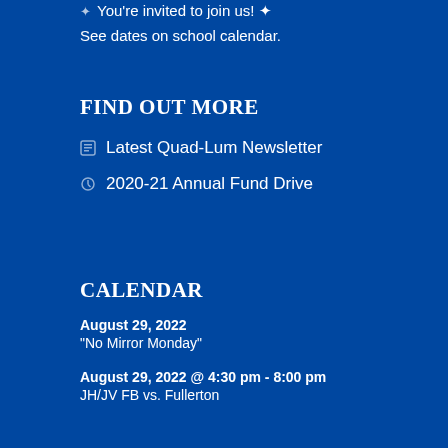You're invited to join us!
See dates on school calendar.
FIND OUT MORE
Latest Quad-Lum Newsletter
2020-21 Annual Fund Drive
CALENDAR
August 29, 2022
"No Mirror Monday"
August 29, 2022 @ 4:30 pm - 8:00 pm
JH/JV FB vs. Fullerton